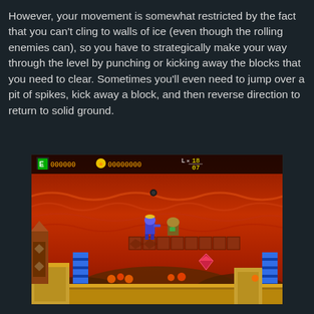However, your movement is somewhat restricted by the fact that you can't cling to walls of ice (even though the rolling enemies can), so you have to strategically make your way through the level by punching or kicking away the blocks that you need to clear. Sometimes you'll even need to jump over a pit of spikes, kick away a block, and then reverse direction to return to solid ground.
[Figure (screenshot): A retro video game screenshot showing a side-scrolling action platformer. The scene has a fiery red/orange background with wavy terrain. A character in blue/purple is shown mid-level. The HUD at the top shows an energy bar, score (000000 and 00000000), and lives (L x 19/07). Below the player are brown/red platform blocks. Blue striped columns are visible along with orange decorative structures at the bottom. A diamond/gem pickup is visible.]